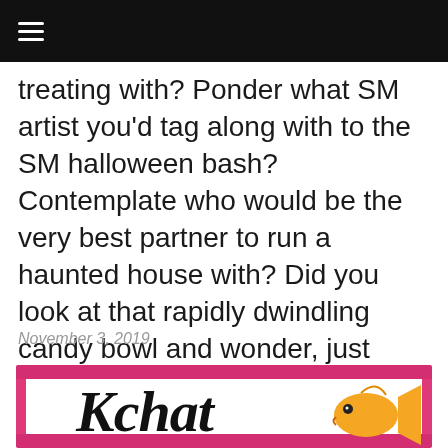≡
treating with? Ponder what SM artist you'd tag along with to the SM halloween bash? Contemplate who would be the very best partner to run a haunted house with? Did you look at that rapidly dwindling candy bowl and wonder, just what idol reminds you of candy corn? We do, so we did! Join us.
November 3, 2019
[Figure (illustration): Kchat logo with cursive text 'Kchat' in black script on a white background with a pink/magenta decorative border, and an orange goldfish graphic to the right of the text]